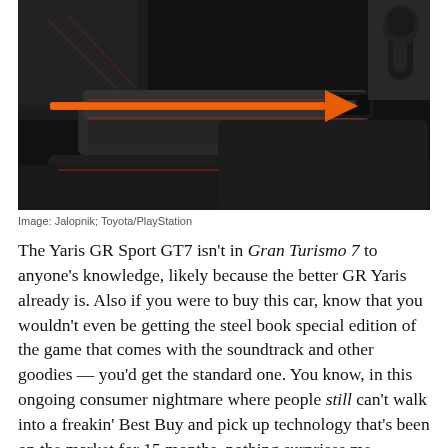[Figure (photo): Dark interior of a Toyota GR Yaris Sport showing the center console armrest area with an orange arrow pointing from left to right toward a small screen/button panel near the gear shift, with red stitching visible on black leather surfaces.]
Image: Jalopnik; Toyota/PlayStation
The Yaris GR Sport GT7 isn't in Gran Turismo 7 to anyone's knowledge, likely because the better GR Yaris already is. Also if you were to buy this car, know that you wouldn't even be getting the steel book special edition of the game that comes with the soundtrack and other goodies — you'd get the standard one. You know, in this ongoing consumer nightmare where people still can't walk into a freakin' Best Buy and pick up technology that's been on the market for 15 months, nothing surprises me anymore.